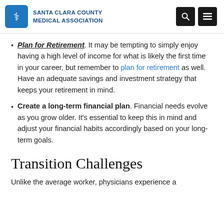SANTA CLARA COUNTY MEDICAL ASSOCIATION
Plan for Retirement. It may be tempting to simply enjoy having a high level of income for what is likely the first time in your career, but remember to plan for retirement as well. Have an adequate savings and investment strategy that keeps your retirement in mind.
Create a long-term financial plan. Financial needs evolve as you grow older. It's essential to keep this in mind and adjust your financial habits accordingly based on your long-term goals.
Transition Challenges
Unlike the average worker, physicians experience a